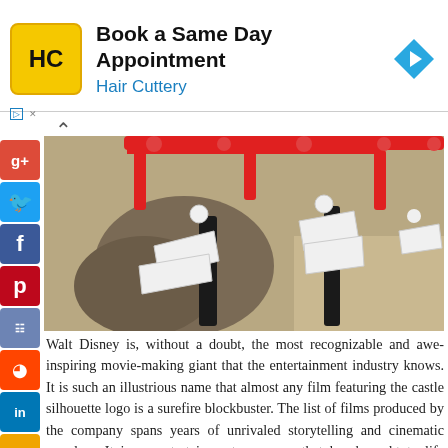[Figure (photo): Hair Cuttery advertisement banner with yellow logo, text 'Book a Same Day Appointment / Hair Cuttery', and blue diamond arrow icon]
[Figure (photo): Close-up photo of a white and red robotic or toy mechanical legs/claws on a rocky/sandy surface]
Walt Disney is, without a doubt, the most recognizable and awe-inspiring movie-making giant that the entertainment industry knows. It is such an illustrious name that almost any film featuring the castle silhouette logo is a surefire blockbuster. The list of films produced by the company spans years of unrivaled storytelling and cinematic wonders. It is an entertainment company that has brought to life immortal